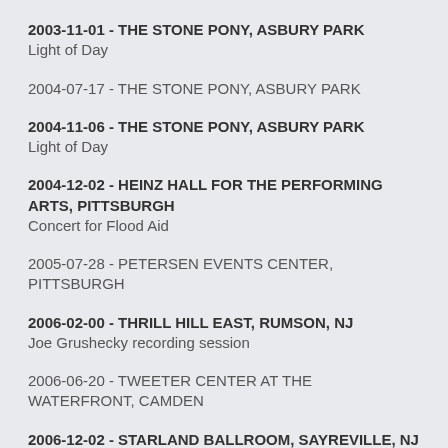2003-11-01 - THE STONE PONY, ASBURY PARK
Light of Day
2004-07-17 - THE STONE PONY, ASBURY PARK
2004-11-06 - THE STONE PONY, ASBURY PARK
Light of Day
2004-12-02 - HEINZ HALL FOR THE PERFORMING ARTS, PITTSBURGH
Concert for Flood Aid
2005-07-28 - PETERSEN EVENTS CENTER, PITTSBURGH
2006-02-00 - THRILL HILL EAST, RUMSON, NJ
Joe Grushecky recording session
2006-06-20 - TWEETER CENTER AT THE WATERFRONT, CAMDEN
2006-12-02 - STARLAND BALLROOM, SAYREVILLE, NJ
Light of Day